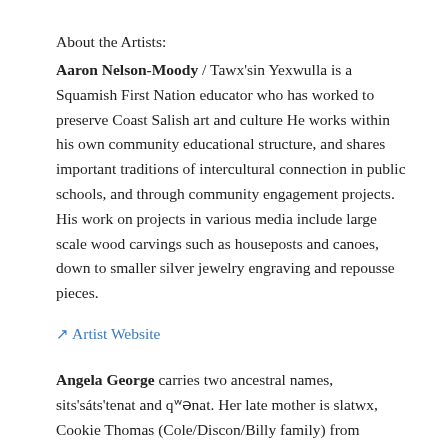About the Artists:
Aaron Nelson-Moody / Tawx'sin Yexwulla is a Squamish First Nation educator who has worked to preserve Coast Salish art and culture He works within his own community educational structure, and shares important traditions of intercultural connection in public schools, and through community engagement projects. His work on projects in various media include large scale wood carvings such as houseposts and canoes, down to smaller silver jewelry engraving and repousse pieces.
↗ Artist Website
Angela George carries two ancestral names, sits'sáts'tenat and qʷənat. Her late mother is slatwx, Cookie Thomas (Cole/Discon/Billy family) from Sḵwxwú7mesh and her father is from the Baker family